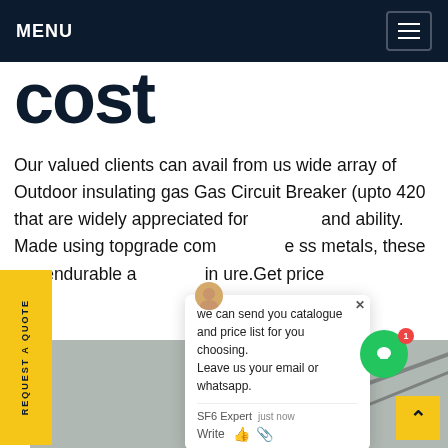MENU
cost
Our valued clients can avail from us wide array of Outdoor insulating gas Gas Circuit Breaker (upto 420 that are widely appreciated for and ability. Made using topgrade com e ss metals, these are endurable a in ure.Get price
[Figure (screenshot): Chat popup overlay showing message: 'we can send you catalogue and price list for you choosing. Leave us your email or whatsapp.' with SF6 Expert label, just now timestamp, Write input, and green chat button with badge 1]
[Figure (photo): Gray industrial photo background showing metallic surfaces]
REQUEST A QUOTE